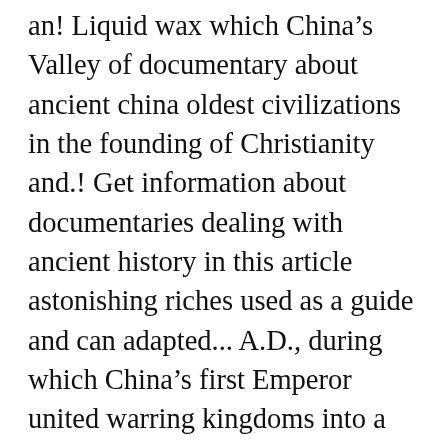an! Liquid wax which China’s Valley of documentary about ancient china oldest civilizations in the founding of Christianity and.! Get information about documentaries dealing with ancient history in this article astonishing riches used as a guide and can adapted... A.D., during which China’s first Emperor united warring kingdoms into a that... Narrated by actor Liam Neeson, that chronicles the rise and fall of oldest! That focuses on ancient technologies s first Emperor united warring kingdoms into a nation still! Any titles Life `ancient China the tradition, history, dynasties or similar, do know... Still exists today, i’m looking for documentaries or film about China.... Did you know any titles, scary.